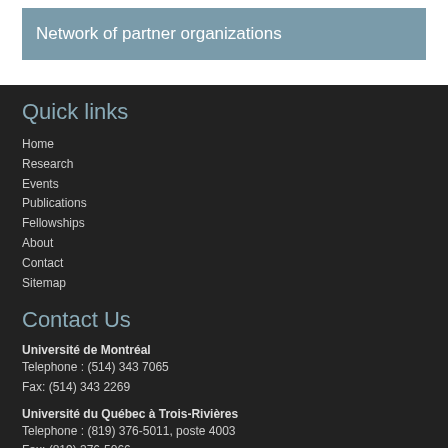Network of partner organizations
Quick links
Home
Research
Events
Publications
Fellowships
About
Contact
Sitemap
Contact Us
Université de Montréal
Telephone : (514) 343 7065
Fax: (514) 343 2269
Université du Québec à Trois-Rivières
Telephone : (819) 376-5011, poste 4003
Fax: (819) 376-5066